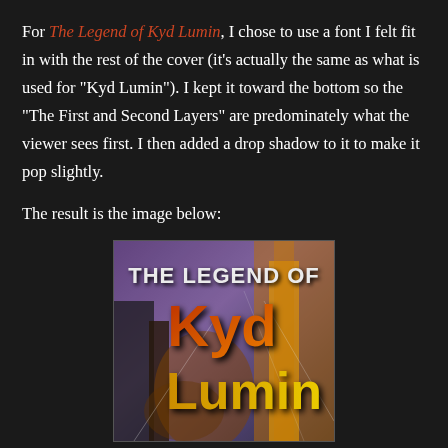For The Legend of Kyd Lumin, I chose to use a font I felt fit in with the rest of the cover (it's actually the same as what is used for "Kyd Lumin"). I kept it toward the bottom so the "The First and Second Layers" are predominately what the viewer sees first. I then added a drop shadow to it to make it pop slightly.
The result is the image below:
[Figure (illustration): Book cover image showing 'THE LEGEND OF Kyd Lumin' text on a colorful background with purples, oranges and yellows. 'THE LEGEND OF' is in white bold text at the top, 'Kyd' is in orange-red gradient, 'Lumin' is in yellow, set against an abstract illustrated background.]